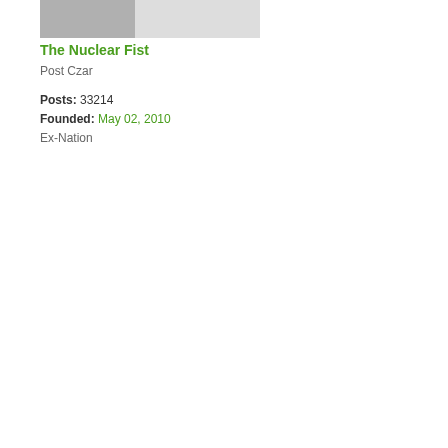[Figure (photo): User avatar image placeholder, gray tones]
The Nuclear Fist
Post Czar
Posts: 33214
Founded: May 02, 2010
Ex-Nation
Nuclear Fist
» Thu Jul 05, 2012 11:28 pm
A con scr
[23: <M I hav the feel tha all the por vide you wat are like to Pri